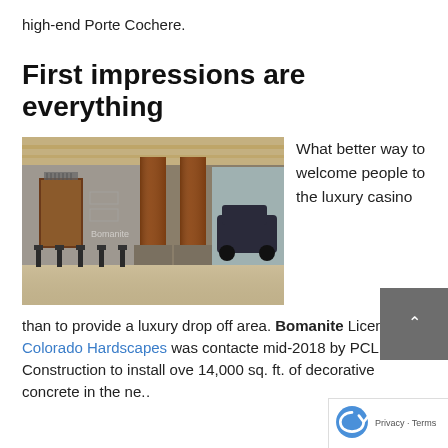high-end Porte Cochere.
First impressions are everything
[Figure (photo): Interior view of a high-end hotel or casino Porte Cochere showing decorative concrete flooring, large copper/reddish columns, bollards, and parked cars. Bomanite watermark visible.]
What better way to welcome people to the luxury casino than to provide a luxury drop off area. Bomanite Licensee, Colorado Hardscapes was contacted mid-2018 by PCL Construction to install over 14,000 sq. ft. of decorative concrete in the new...